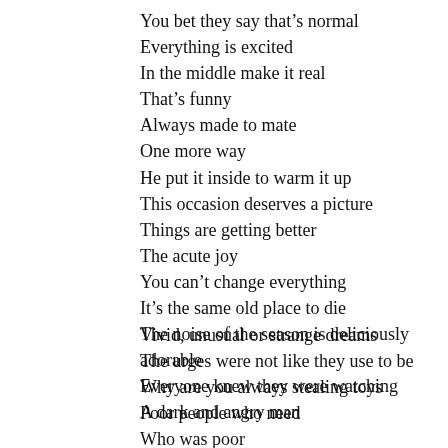You bet they say that's normal
Everything is excited
In the middle make it real
That's funny
Always made to mate
One more way
He put it inside to warm it up
This occasion deserves a picture
Things are getting better
The acute joy
You can't change everything
It's the same old place to die
The noise of the season is deliciously adorable
Everyone knew they were watching
A dark and angry man
Who was poor
Vivid, unusual or strange dreams
The urges were not like they use to be
Why are you always stealing toys
Poor people who need